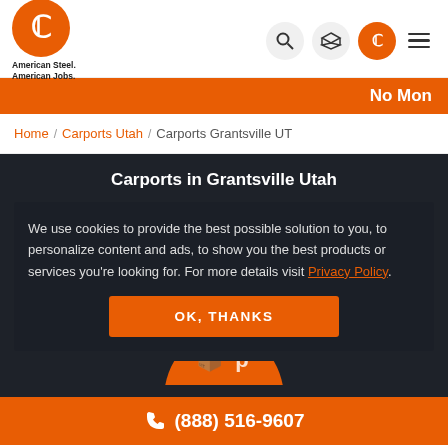[Figure (logo): American Steel Carports logo - orange circle with 'C' letter, tagline 'American Steel. American Jobs.']
No Mon
Home / Carports Utah / Carports Grantsville UT
Carports in Grantsville Utah
We use cookies to provide the best possible solution to you, to personalize content and ads, to show you the best products or services you're looking for. For more details visit Privacy Policy.
OK, THANKS
(888) 516-9607